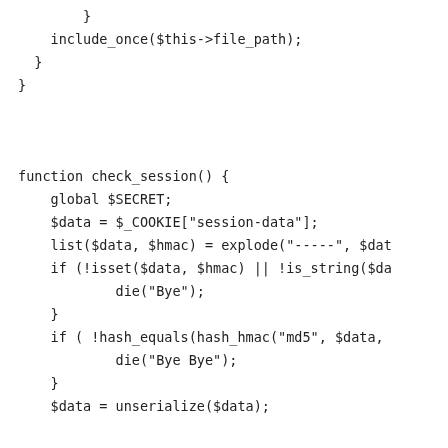}
    include_once($this->file_path);
  }
}


function check_session() {
    global $SECRET;
    $data = $_COOKIE["session-data"];
    list($data, $hmac) = explode("-----", $dat
    if (!isset($data, $hmac) || !is_string($da
            die("Bye");
    }
    if ( !hash_equals(hash_hmac("md5", $data,
            die("Bye Bye");
    }
    $data = unserialize($data);